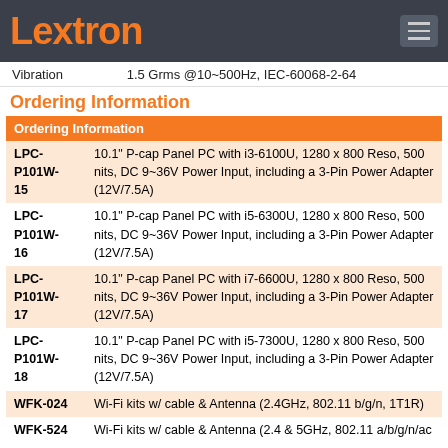Lextron
Vibration    1.5 Grms @10~500Hz, IEC-60068-2-64
Ordering Information
| Ordering Information |  |
| --- | --- |
| LPC-
P101W-
15 | 10.1" P-cap Panel PC with i3-6100U, 1280 x 800 Reso, 500 nits, DC 9~36V Power Input, including a 3-Pin Power Adapter (12V/7.5A) |
| LPC-
P101W-
16 | 10.1" P-cap Panel PC with i5-6300U, 1280 x 800 Reso, 500 nits, DC 9~36V Power Input, including a 3-Pin Power Adapter (12V/7.5A) |
| LPC-
P101W-
17 | 10.1" P-cap Panel PC with i7-6600U, 1280 x 800 Reso, 500 nits, DC 9~36V Power Input, including a 3-Pin Power Adapter (12V/7.5A) |
| LPC-
P101W-
18 | 10.1" P-cap Panel PC with i5-7300U, 1280 x 800 Reso, 500 nits, DC 9~36V Power Input, including a 3-Pin Power Adapter (12V/7.5A) |
| WFK-024 | Wi-Fi kits w/ cable & Antenna (2.4GHz, 802.11 b/g/n, 1T1R) |
| WFK-524 | Wi-Fi kits w/ cable & Antenna (2.4 & 5GHz, 802.11 a/b/g/n/ac |